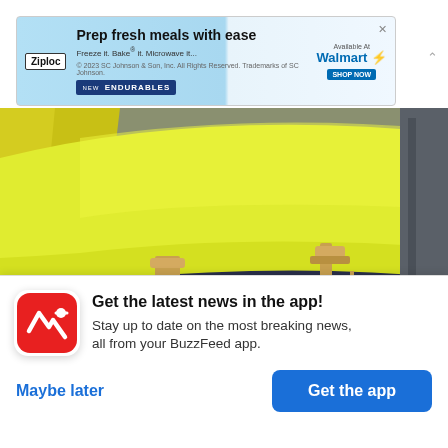[Figure (photo): Ziploc advertisement banner: 'Prep fresh meals with ease — Freeze it. Bake it. Microwave it. NEW ENDURABLES' with Walmart branding and shop now button]
[Figure (photo): Cropped photo showing the hem of a yellow gown and gold high-heeled shoes on a striped carpet, credited to Dia Dipasupil / Getty Images]
Dia Dipasupil / Getty Images
BuzzFeed News has reached Haddish's
representatives for additional details about the
[Figure (screenshot): BuzzFeed app install prompt card with red BuzzFeed logo icon, text 'Get the latest news in the app! Stay up to date on the most breaking news, all from your BuzzFeed app.' with 'Maybe later' and 'Get the app' buttons]